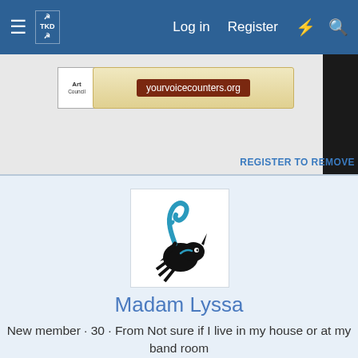Log in  Register
[Figure (screenshot): Forum website navigation bar with hamburger menu, site logo, Log in, Register links, and search/notification icons on a dark blue background]
[Figure (photo): Advertisement banner showing 'yourvoicecounters.org' or similar text on a beige background with a small logo on the left]
REGISTER TO REMOVE
[Figure (illustration): Profile avatar image showing a black silhouette of a scorpion-like creature with teal/blue colored tail on a white background]
Madam Lyssa
New member · 30 · From Not sure if I live in my house or at my band room